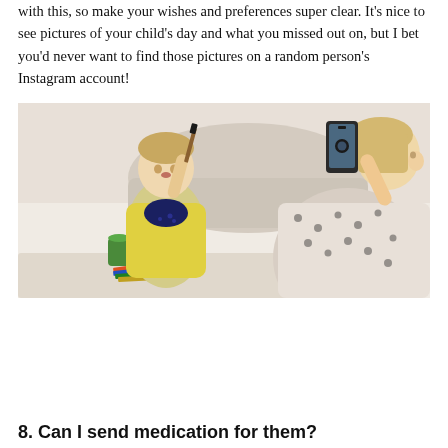with this, so make your wishes and preferences super clear. It's nice to see pictures of your child's day and what you missed out on, but I bet you'd never want to find those pictures on a random person's Instagram account!
[Figure (photo): A young woman/mother holding up a smartphone to photograph a toddler boy wearing a yellow shirt and navy bandana bib, who is painting at a table with art supplies including paint pots and colored pencils.]
8. Can I send medication for them?